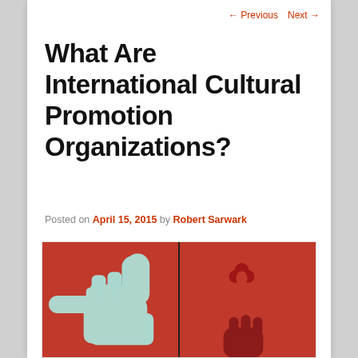← Previous   Next →
What Are International Cultural Promotion Organizations?
Posted on April 15, 2015 by Robert Sarwark
[Figure (illustration): Artwork showing two hands on a red background — one giving a thumbs up (light blue silhouette) and one holding a flower (red hand), in a diptych style.]